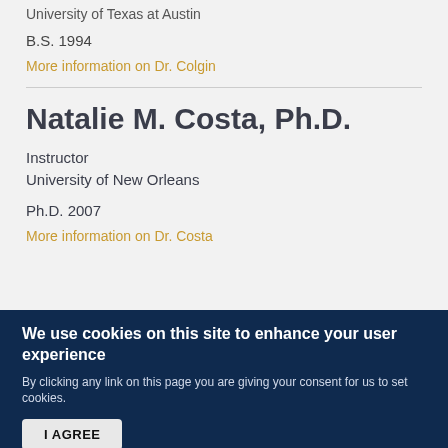University of Texas at Austin
B.S. 1994
More information on Dr. Colgin
Natalie M. Costa, Ph.D.
Instructor
University of New Orleans
Ph.D. 2007
More information on Dr. Costa
We use cookies on this site to enhance your user experience
By clicking any link on this page you are giving your consent for us to set cookies.
I AGREE